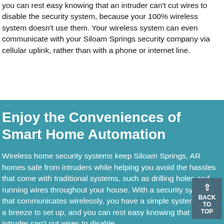you can rest easy knowing that an intruder can't cut wires to disable the security system, because your 100% wireless system doesn't use them. Your wireless system can even communicate with your Siloam Springs security company via cellular uplink, rather than with a phone or internet line.
Enjoy the Conveniences of Smart Home Automation
Wireless home security systems keep Siloam Springs, AR homes safe from intruders while helping you avoid the hassles that come with traditional systems, such as drilling holes and running wires throughout your house. With a security system that communicates wirelessly, you have a simple system that's a breeze to set up, and you can rest easy knowing that an intruder can't cut wires to disable